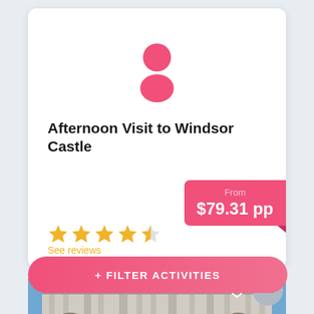[Figure (illustration): Pink person/avatar icon (circle head and body) centered at top of white card]
Afternoon Visit to Windsor Castle
From $79.31 pp
See reviews
[Figure (photo): Photo of a large classical palace/castle building with blue sky, likely Buckingham Palace or Windsor Castle]
+ FILTER ACTIVITIES